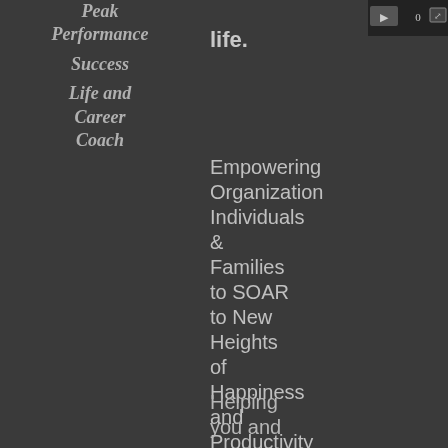Peak Performance Success Life and Career Coach
life.
[Figure (screenshot): UI control icons in dark rectangle top right corner]
Empowering Organizations Individuals & Families to SOAR to New Heights of Happiness and Productivity
Helping you and